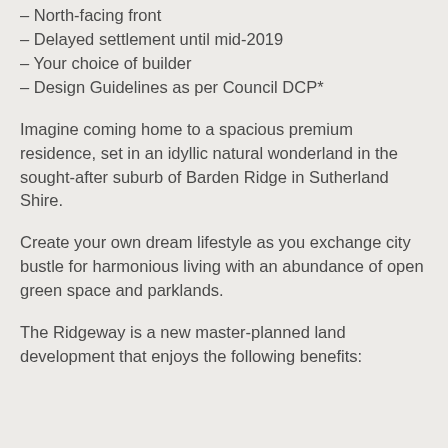– North-facing front
– Delayed settlement until mid-2019
– Your choice of builder
– Design Guidelines as per Council DCP*
Imagine coming home to a spacious premium residence, set in an idyllic natural wonderland in the sought-after suburb of Barden Ridge in Sutherland Shire.
Create your own dream lifestyle as you exchange city bustle for harmonious living with an abundance of open green space and parklands.
The Ridgeway is a new master-planned land development that enjoys the following benefits: